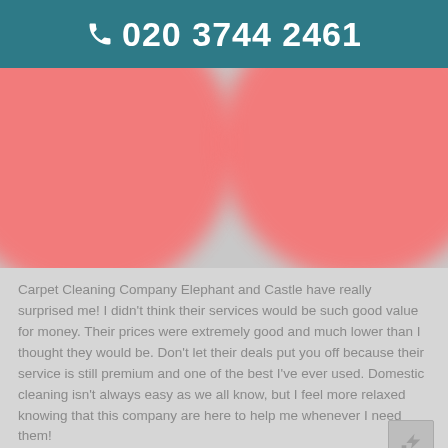📞 020 3744 2461
[Figure (illustration): Two large blurred coral/salmon-colored circular blobs on a gray background, resembling redacted or decorative image elements.]
Carpet Cleaning Company Elephant and Castle have really surprised me! I didn't think their services would be such good value for money. Their prices were extremely good and much lower than I thought they would be. Don't let their deals put you off because their service is still premium and one of the best I've ever used. Domestic cleaning isn't always easy as we all know, but I feel more relaxed knowing that this company are here to help me whenever I need them!
Donald Teddington
15/03/2016